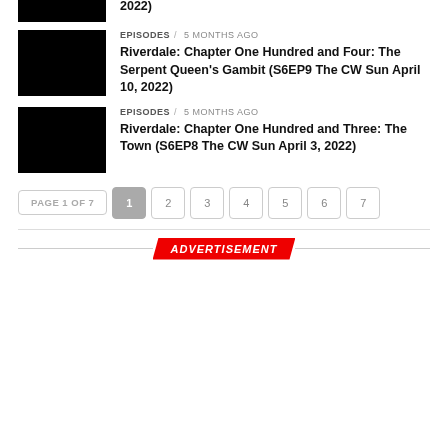[Figure (photo): Black thumbnail image (partial, top of page)]
2022)
EPISODES / 5 months ago
Riverdale: Chapter One Hundred and Four: The Serpent Queen's Gambit (S6EP9 The CW Sun April 10, 2022)
[Figure (photo): Black thumbnail image]
EPISODES / 5 months ago
Riverdale: Chapter One Hundred and Three: The Town (S6EP8 The CW Sun April 3, 2022)
[Figure (photo): Black thumbnail image]
PAGE 1 OF 7  1  2  3  4  5  6  7
ADVERTISEMENT